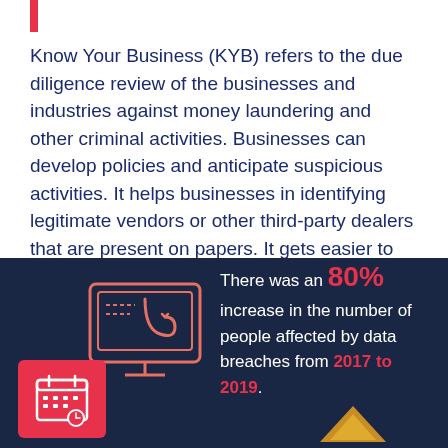Know Your Business (KYB) refers to the due diligence review of the businesses and industries against money laundering and other criminal activities. Businesses can develop policies and anticipate suspicious activities. It helps businesses in identifying legitimate vendors or other third-party dealers that are present on papers. It gets easier to avoid transactions with shell companies.
[Figure (infographic): Dark navy blue infographic panel with a phishing/hook icon on a monitor screen (coral/red outline) and a red calendar icon in the bottom-left corner. Text reads: There was an 80% increase in the number of people affected by data breaches from 2017 to 2019.]